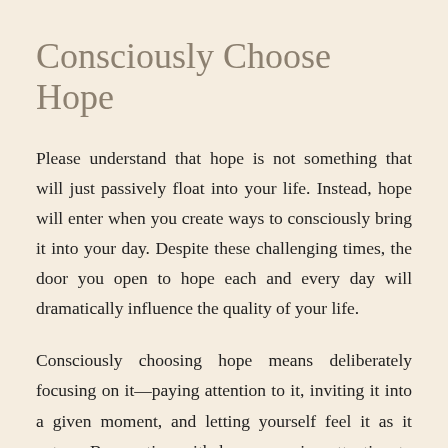Consciously Choose Hope
Please understand that hope is not something that will just passively float into your life. Instead, hope will enter when you create ways to consciously bring it into your day. Despite these challenging times, the door you open to hope each and every day will dramatically influence the quality of your life.
Consciously choosing hope means deliberately focusing on it—paying attention to it, inviting it into a given moment, and letting yourself feel it as it enters. Be creative with how you give attention to hope and invite it in. Moment by moment, choose